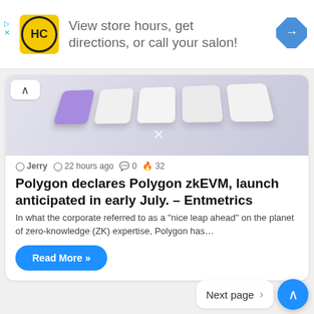[Figure (screenshot): Advertisement banner for HC salon: yellow logo with HC initials in circle, text 'View store hours, get directions, or call your salon!', blue diamond arrow icon on right, and small play/close controls on left.]
[Figure (photo): Partial image of white keyboard keys with one purple key, viewed at an angle, appearing at the top of an article card.]
Jerry  22 hours ago  0  32
Polygon declares Polygon zkEVM, launch anticipated in early July. – Entmetrics
In what the corporate referred to as a "nice leap ahead" on the planet of zero-knowledge (ZK) expertise, Polygon has…
Read More »
Next page  >